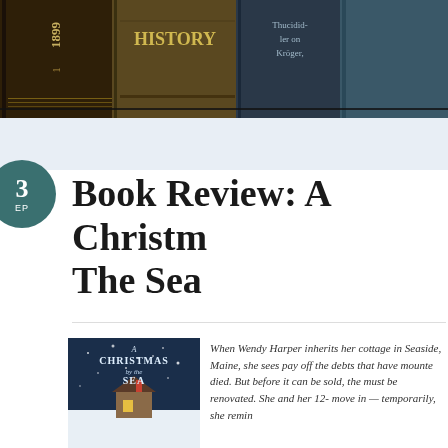[Figure (photo): Top banner showing old book spines on a shelf including titles with 'HISTORY' and 'Thucidid...' visible, dark brown and blue tones]
Book Review: A Christmas by The Sea
When Wendy Harper inherits her cottage in Seaside, Maine, she sees pay off the debts that have mounted died. But before it can be sold, the r must be renovated. She and her 12- move in — temporarily, she remin